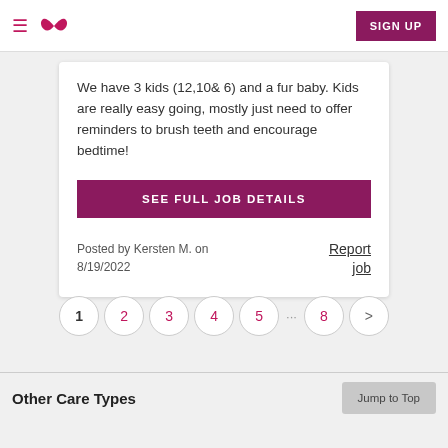≡ ∞ SIGN UP
We have 3 kids (12,10& 6) and a fur baby. Kids are really easy going, mostly just need to offer reminders to brush teeth and encourage bedtime!
SEE FULL JOB DETAILS
Posted by Kersten M. on 8/19/2022
Report job
1 2 3 4 5 ... 8 >
Other Care Types
Jump to Top